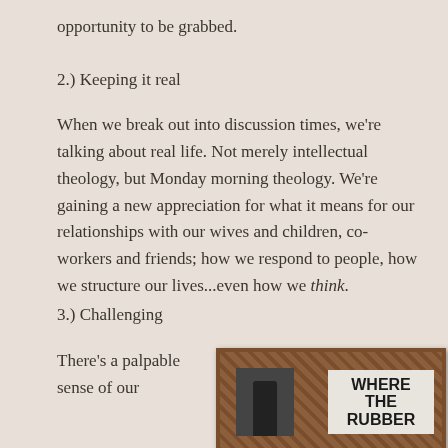opportunity to be grabbed.
2.) Keeping it real
When we break out into discussion times, we're talking about real life. Not merely intellectual theology, but Monday morning theology. We're gaining a new appreciation for what it means for our relationships with our wives and children, co-workers and friends; how we respond to people, how we structure our lives...even how we think.
3.) Challenging
There's a palpable sense of our
[Figure (photo): Book cover showing 'WHERE THE RUBBER' text on a light background with a decorative wooden frame border and a partial figure on the left side]